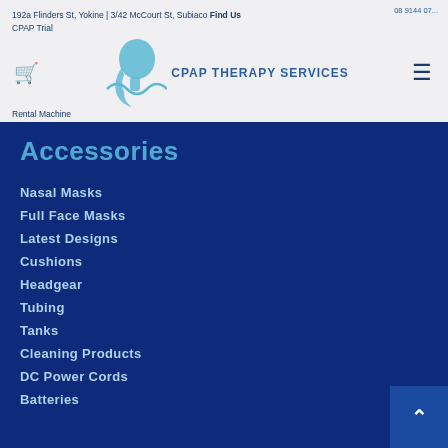192a Flinders St, Yokine | 3/42 McCourt St, Subiaco Find Us
CRAP Trial
Rental Machine
[Figure (logo): CPAP Therapy Services logo with blue face/head silhouette and text CPAP THERAPY SERVICES]
Accessories
Nasal Masks
Full Face Masks
Latest Designs
Cushions
Headgear
Tubing
Tanks
Cleaning Products
DC Power Cords
Batteries